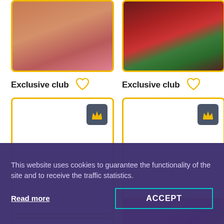[Figure (photo): Partial view of a woman's face focusing on lips with pink/mauve lipstick, cropped close-up]
[Figure (photo): Partial view of a woman with red hair and floral tattoo on chest/shoulder area]
Exclusive club
[Figure (illustration): Heart/like icon (outline) in yellow/gold color]
Exclusive club
[Figure (illustration): Heart/like icon (outline) in yellow/gold color]
[Figure (photo): Blank white card with dark gray square badge showing a gold crown icon in top-right corner]
[Figure (photo): Blank white card with dark gray square badge showing a gold crown icon in top-right corner]
This website uses cookies to guarantee the functionality of the site and to receive the traffic statistics.
Read more
ACCEPT
[Figure (photo): Partial bottom view of a woman in bright pink outfit/hat, cropped]
[Figure (photo): Blank white card bottom, partially visible]